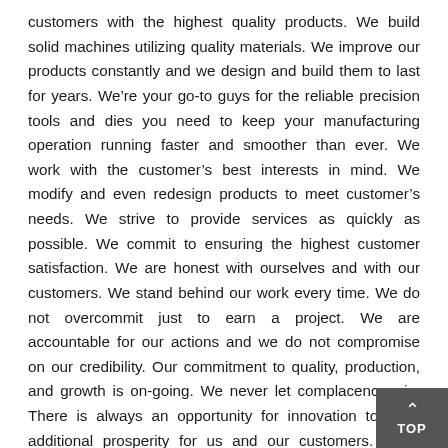customers with the highest quality products. We build solid machines utilizing quality materials. We improve our products constantly and we design and build them to last for years. We're your go-to guys for the reliable precision tools and dies you need to keep your manufacturing operation running faster and smoother than ever. We work with the customer's best interests in mind. We modify and even redesign products to meet customer's needs. We strive to provide services as quickly as possible. We commit to ensuring the highest customer satisfaction. We are honest with ourselves and with our customers. We stand behind our work every time. We do not overcommit just to earn a project. We are accountable for our actions and we do not compromise on our credibility. Our commitment to quality, production, and growth is on-going. We never let complacency win. There is always an opportunity for innovation to drive additional prosperity for us and our customers. Good enough isn't good enough. Life is more than “business as usual”. Being active in the community, providing meaningful employment, and making a safe workplace is the goal behind our business, born of family and community more than